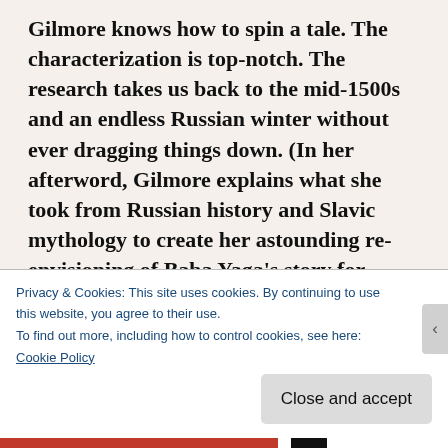Gilmore knows how to spin a tale. The characterization is top-notch. The research takes us back to the mid-1500s and an endless Russian winter without ever dragging things down. (In her afterword, Gilmore explains what she took from Russian history and Slavic mythology to create her astounding re-envisioning of Baba Yaga's story for nerds like me who want all the stories.). The plot is epic in every sense of the world. Fans of folklore retellings—especially those who like their stories with a sharp bite—should immediately pre-order this book, put themselves on the library hold list, and do whatever they can to get this book into their hands. This book is
Privacy & Cookies: This site uses cookies. By continuing to use this website, you agree to their use.
To find out more, including how to control cookies, see here:
Cookie Policy
Close and accept